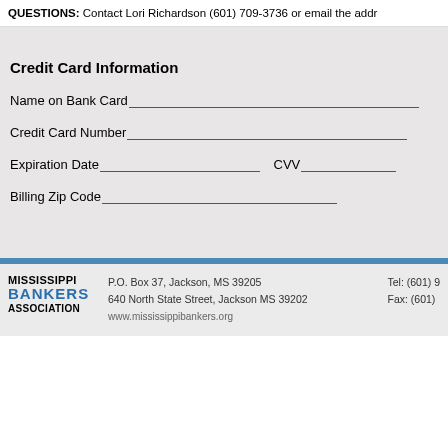QUESTIONS: Contact Lori Richardson (601) 709-3736 or email the addr
Credit Card Information
Name on Bank Card_______________________________________________
Credit Card Number_______________________________________________
Expiration Date____________________________CVV__________________
Billing Zip Code__________________________________
P.O. Box 37, Jackson, MS 39205
640 North State Street, Jackson MS 39202
Tel: (601) 9
Fax: (601)
[Figure (logo): Mississippi Bankers Association logo with text MISSISSIPPI BANKERS ASSOCIATION]